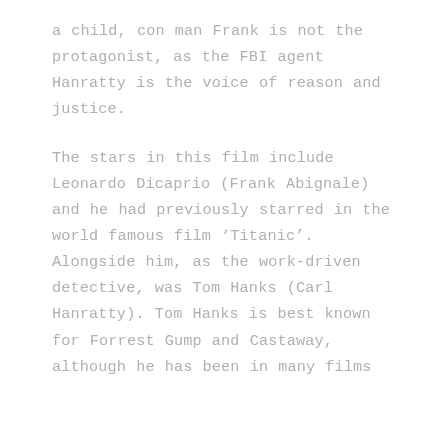a child, con man Frank is not the protagonist, as the FBI agent Hanratty is the voice of reason and justice.
The stars in this film include Leonardo Dicaprio (Frank Abignale) and he had previously starred in the world famous film ‘Titanic’. Alongside him, as the work-driven detective, was Tom Hanks (Carl Hanratty). Tom Hanks is best known for Forrest Gump and Castaway, although he has been in many films